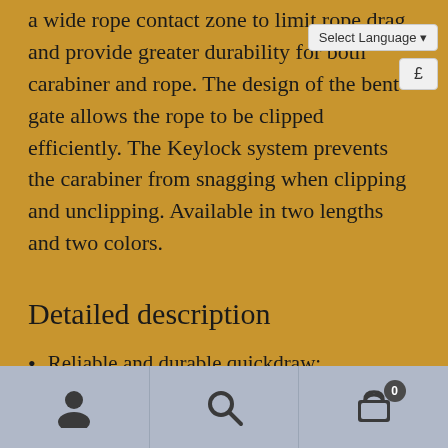a wide rope contact zone to limit rope drag and provide greater durability for both carabiner and rope. The design of the bent gate allows the rope to be clipped efficiently. The Keylock system prevents the carabiner from snagging when clipping and unclipping. Available in two lengths and two colors.
Detailed description
Reliable and durable quickdraw:
– very reliable DJINN carabiner gate mechanism
– H-shaped cross-section offers an optimized strength/weight ratio
– wider rope and anchor contact surfaces for better